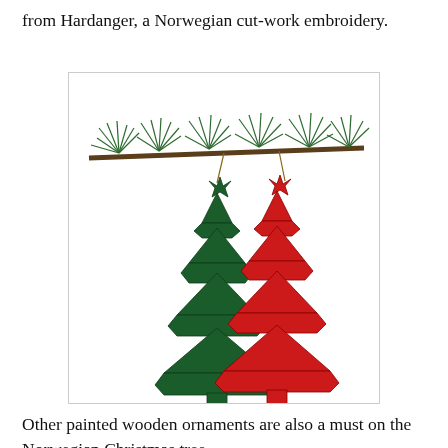from Hardanger, a Norwegian cut-work embroidery.
[Figure (photo): Two wooden Christmas tree ornaments — one dark green and one red — hanging from a pine branch. The trees are 3D interlocking flat cut-outs painted in festive colors.]
Other painted wooden ornaments are also a must on the Norwegian Christmas tree.